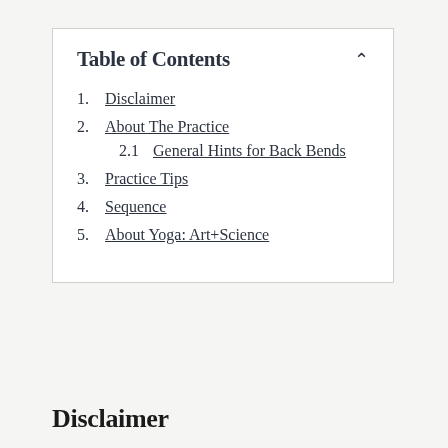Table of Contents
1. Disclaimer
2. About The Practice
2.1 General Hints for Back Bends
3. Practice Tips
4. Sequence
5. About Yoga: Art+Science
Disclaimer